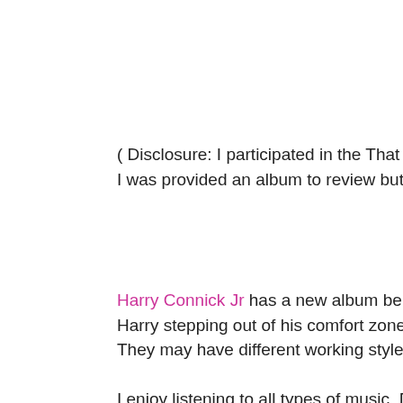( Disclosure: I participated in the That Would Be Me album r I was provided an album to review but all opinions are my o
Harry Connick Jr has a new album being released on Octob Harry stepping out of his comfort zone and working with two They may have different working styles but the album came
I enjoy listening to all types of music. Different moods call fo was a cool guy, on a movie star level. I've seen him in Copy him on film first or you saw him on American Idol, you will re labeling and putting things into boxes. So I can't say what g